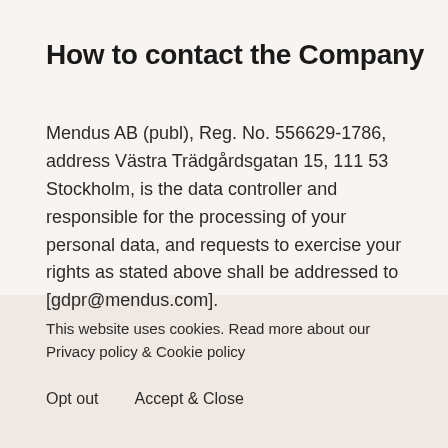How to contact the Company
Mendus AB (publ), Reg. No. 556629-1786, address Västra Trädgårdsgatan 15, 111 53 Stockholm, is the data controller and responsible for the processing of your personal data, and requests to exercise your rights as stated above shall be addressed to [gdpr@mendus.com].
This website uses cookies. Read more about our Privacy policy & Cookie policy
Opt out      Accept & Close